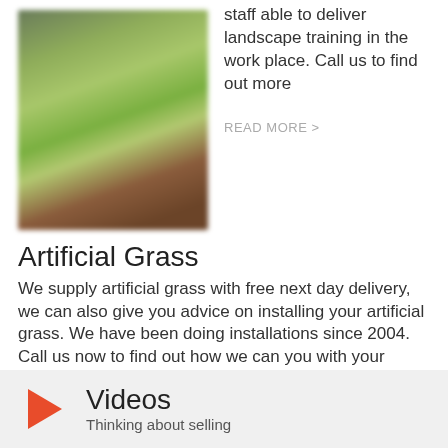staff able to deliver landscape training in the work place. Call us to find out more
READ MORE >
[Figure (photo): Blurred outdoor landscape photo showing green grass and brown earthy tones]
Artificial Grass
We supply artificial grass with free next day delivery, we can also give you advice on installing your artificial grass. We have been doing installations since 2004. Call us now to find out how we can you with your project.
READ MORE >
Videos
Thinking about selling